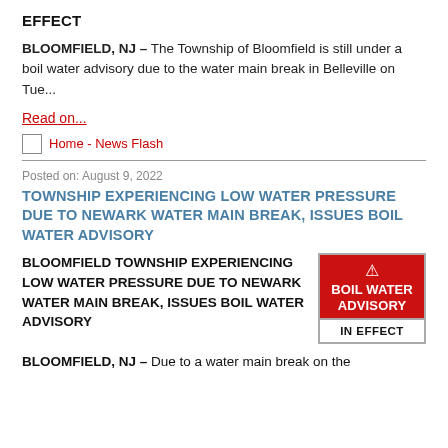EFFECT
BLOOMFIELD, NJ – The Township of Bloomfield is still under a boil water advisory due to the water main break in Belleville on Tue...
Read on...
Home - News Flash
Posted on: August 9, 2022
TOWNSHIP EXPERIENCING LOW WATER PRESSURE DUE TO NEWARK WATER MAIN BREAK, ISSUES BOIL WATER ADVISORY
BLOOMFIELD TOWNSHIP EXPERIENCING LOW WATER PRESSURE DUE TO NEWARK WATER MAIN BREAK, ISSUES BOIL WATER ADVISORY
[Figure (infographic): Boil Water Advisory In Effect sign — red background with white bold text saying BOIL WATER ADVISORY, below in white section: IN EFFECT]
BLOOMFIELD, NJ – Due to a water main break on the